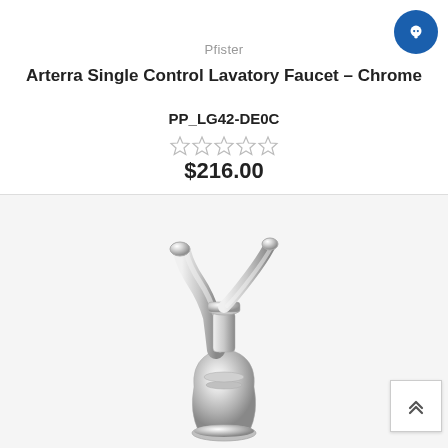Pfister
Arterra Single Control Lavatory Faucet - Chrome PP_LG42-DE0C
★★★★★ (0 reviews)
$216.00
[Figure (photo): Chrome single-handle lavatory faucet (Pfister Arterra), shown from front-left angle on light gray background.]